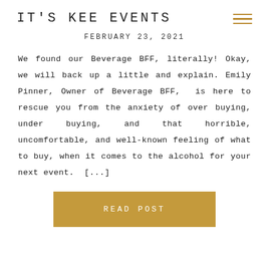IT'S KEE EVENTS
FEBRUARY 23, 2021
We found our Beverage BFF, literally! Okay, we will back up a little and explain. Emily Pinner, Owner of Beverage BFF, is here to rescue you from the anxiety of over buying, under buying, and that horrible, uncomfortable, and well-known feeling of what to buy, when it comes to the alcohol for your next event. [...]
READ POST